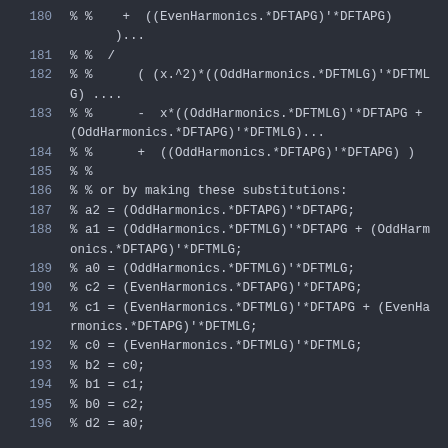180  % %    +  ((EvenHarmonics.*DFTAPG)'*DFTAPG)
         ),...
181  % %  /
182  % %      ( (x.^2)*((OddHarmonics.*DFTMLG)'*DFTMLG ....
183  % %      -  x*((OddHarmonics.*DFTMLG)'*DFTAPG + (OddHarmonics.*DFTAPG)'*DFTMLG)...
184  % %      +  ((OddHarmonics.*DFTAPG)'*DFTAPG) )
185  % %
186  % % or by making these substitutions:
187  % a2 = (OddHarmonics.*DFTAPG)'*DFTAPG;
188  % a1 = (OddHarmonics.*DFTMLG)'*DFTAPG + (OddHarmonics.*DFTAPG)'*DFTMLG;
189  % a0 = (OddHarmonics.*DFTMLG)'*DFTMLG;
190  % c2 = (EvenHarmonics.*DFTAPG)'*DFTAPG;
191  % c1 = (EvenHarmonics.*DFTMLG)'*DFTAPG + (EvenHarmonics.*DFTAPG)'*DFTMLG;
192  % c0 = (EvenHarmonics.*DFTMLG)'*DFTMLG;
193  % b2 = c0;
194  % b1 = c1;
195  % b0 = c2;
196  % d2 = a0;